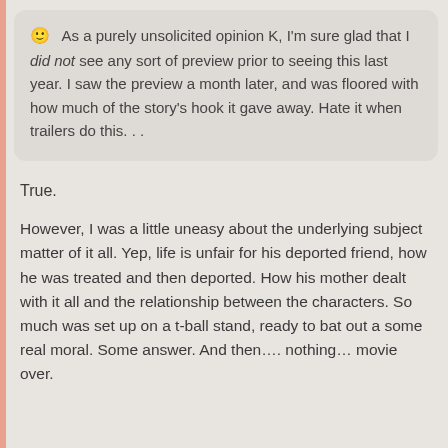😊 As a purely unsolicited opinion K, I'm sure glad that I did not see any sort of preview prior to seeing this last year. I saw the preview a month later, and was floored with how much of the story's hook it gave away. Hate it when trailers do this. . .
True.
However, I was a little uneasy about the underlying subject matter of it all. Yep, life is unfair for his deported friend, how he was treated and then deported. How his mother dealt with it all and the relationship between the characters. So much was set up on a t-ball stand, ready to bat out a some real moral. Some answer. And then.... nothing... movie over.